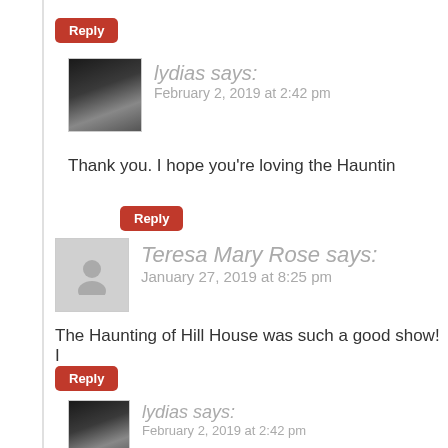Reply
lydias says:
February 2, 2019 at 2:42 pm
Thank you. I hope you're loving the Hauntin
Reply
Teresa Mary Rose says:
January 27, 2019 at 8:25 pm
The Haunting of Hill House was such a good show! I
Reply
lydias says:
February 2, 2019 at 2:42 pm
Wasn't it?! I hope the book is just as good.
Reply
Jess @A Book Addict's Bookshelves says:
January 28, 2019 at 3:46 pm